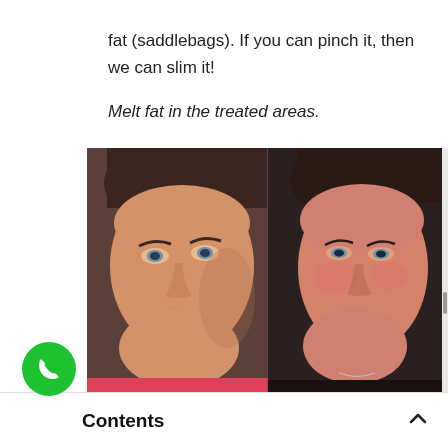fat (saddlebags). If you can pinch it, then we can slim it!
Melt fat in the treated areas.
We will sculpt you skinny!
[Figure (photo): Before and after side-by-side photos of a woman's face showing treatment results. Left image shows the before state with fuller face; right image shows the after state with slimmer facial contour.]
Contents